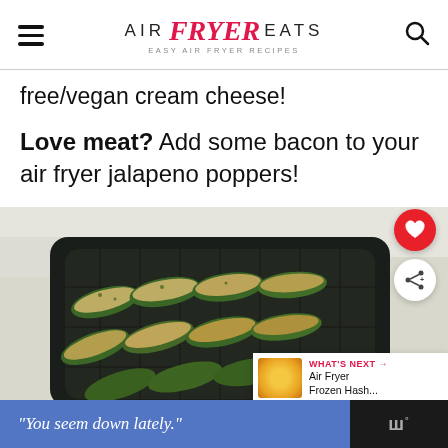AIR Fryer EATS — EASY AIR FRYER RECIPES
free/vegan cream cheese!
Love meat? Add some bacon to your air fryer jalapeno poppers!
[Figure (photo): Jalapeño poppers filled with cream cheese in an air fryer basket, viewed from above]
WHAT'S NEXT → Air Fryer Frozen Hash...
[Figure (other): Advertisement bar reading: "You seem down lately." with a logo on the right]